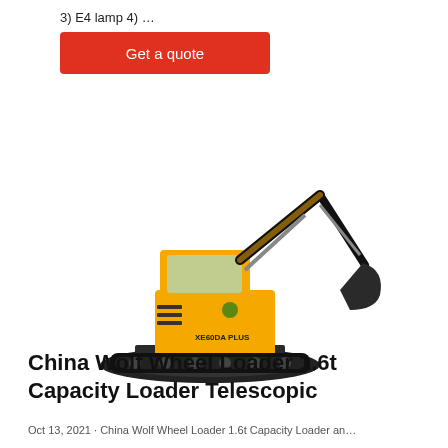3) E4 lamp 4) …
Get a quote
[Figure (photo): Yellow XCMG XE60DA Plus mini excavator with bucket arm raised, on white background, with sidebar showing Chat, Email, and Contact icons on dark grey background]
China Wolf Wheel Loader 1.6t Capacity Loader Telescopic
Oct 13, 2021 · China Wolf Wheel Loader 1.6t Capacity Loader and …